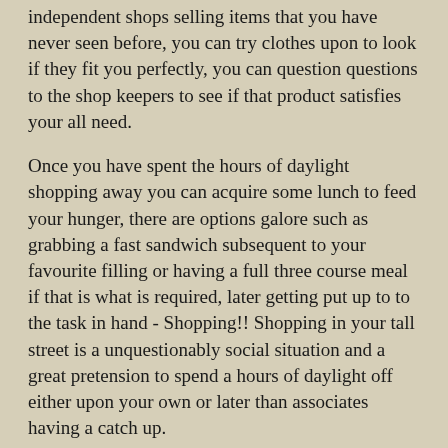independent shops selling items that you have never seen before, you can try clothes upon to look if they fit you perfectly, you can question questions to the shop keepers to see if that product satisfies your all need.
Once you have spent the hours of daylight shopping away you can acquire some lunch to feed your hunger, there are options galore such as grabbing a fast sandwich subsequent to your favourite filling or having a full three course meal if that is what is required, later getting put up to to the task in hand - Shopping!! Shopping in your tall street is a unquestionably social situation and a great pretension to spend a hours of daylight off either upon your own or later than associates having a catch up.
Cons
If the weather is damp it can create it a daylight full of annoyance bothersome to avoid getting wet and sheltering following possible. If your daylight off is a weekend day after that prepare yourself for a day of walking through large crowds and endless checkout queues. There will be families aimlessly wondering nearly some with unruly kids just